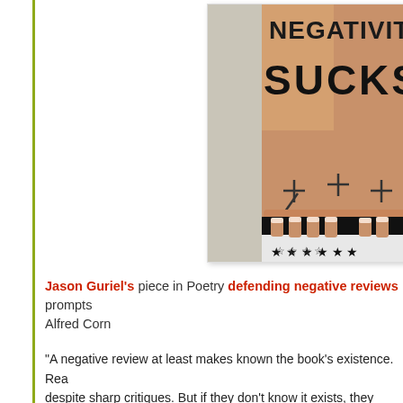[Figure (photo): Cropped photo of a person's torso and abdomen with the words 'NEGATIVITY SUCKS' written in large black marker letters on the skin. The person is wearing black-and-white star-patterned underwear. There are also cross/plus symbols drawn on the skin.]
Jason Guriel's piece in Poetry defending negative reviews prompts Alfred Corn
"A negative review at least makes known the book's existence. Rea despite sharp critiques. But if they don't know it exists, they won't lo any opinion about it, positive or negative. Book review editors have any single reviewer. Letters to the editor expressing dissatisfaction a very common. I don't ever recall seeing a letter to an editor criticizin